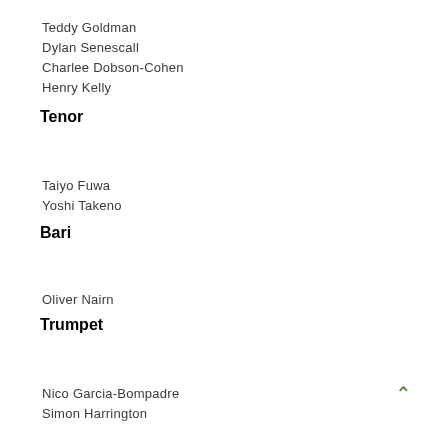Teddy Goldman
Dylan Senescall
Charlee Dobson-Cohen
Henry Kelly
Tenor
Taiyo Fuwa
Yoshi Takeno
Bari
Oliver Nairn
Trumpet
Nico Garcia-Bompadre
Simon Harrington